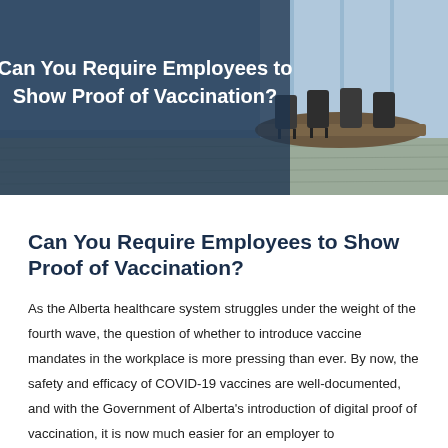[Figure (photo): Hero banner image showing an office/boardroom background with chairs, overlaid with a dark blue-gray semi-transparent panel on the left side, displaying the article title in white bold text.]
Can You Require Employees to Show Proof of Vaccination?
As the Alberta healthcare system struggles under the weight of the fourth wave, the question of whether to introduce vaccine mandates in the workplace is more pressing than ever. By now, the safety and efficacy of COVID-19 vaccines are well-documented, and with the Government of Alberta's introduction of digital proof of vaccination, it is now much easier for an employer to